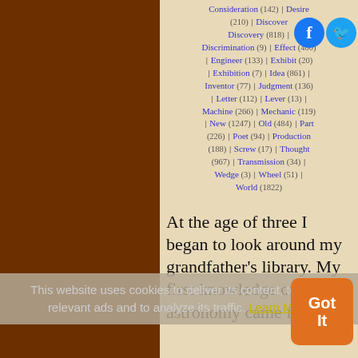Consideration (142) | Desire (210) | Discover | Discovery (818) | Discrimination (9) | Effect (400) | Engineer (133) | Exhibit (20) | Exhibition (7) | Idea (861) | Inventor (77) | Judgment (136) | Letter (112) | Lever (13) | Machine (266) | Mechanic (119) | New (1247) | Old (484) | Part (226) | Poet (94) | Production (188) | Screw (17) | Thought (967) | Transmission (34) | Wedge (3) | Wheel (51) | World (1822)
At the age of three I began to look around my grandfather's library. My first knowledge of astronomy came from reading and looking at pictures at that time. By the time I was six I remember him buying books for me. I think
This website uses cookies to deliver its content, to show relevant ads and to analyze its traffic. Learn More